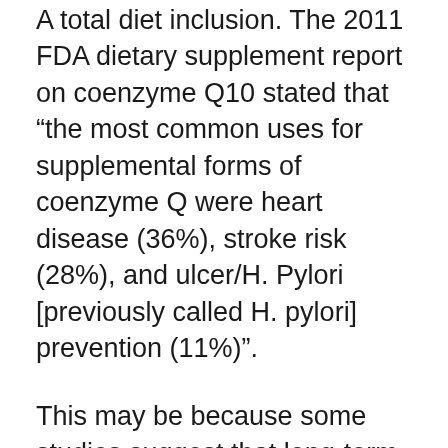A total diet inclusion. The 2011 FDA dietary supplement report on coenzyme Q10 stated that “the most common uses for supplemental forms of coenzyme Q were heart disease (36%), stroke risk (28%), and ulcer/H. Pylori [previously called H. pylori] prevention (11%)”.
This may be because some studies suggest that long-term use of commonly available supplements containing Coenzyme Q10 causes a reduction in levels of reduced glutathione, the body’s main antioxidant, which boosts oxidization